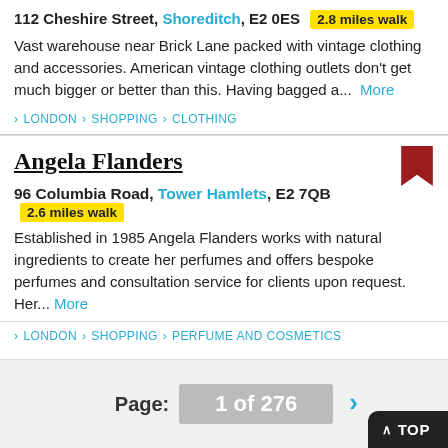112 Cheshire Street, Shoreditch, E2 0ES  2.8 miles walk
Vast warehouse near Brick Lane packed with vintage clothing and accessories. American vintage clothing outlets don't get much bigger or better than this. Having bagged a...  More
> LONDON > SHOPPING > CLOTHING
Angela Flanders
96 Columbia Road, Tower Hamlets, E2  7QB  2.6 miles walk
Established in 1985 Angela Flanders works with natural ingredients to create her perfumes and offers bespoke perfumes and consultation service for clients upon request. Her...  More
> LONDON > SHOPPING > PERFUME AND COSMETICS
Page: 1 of 276